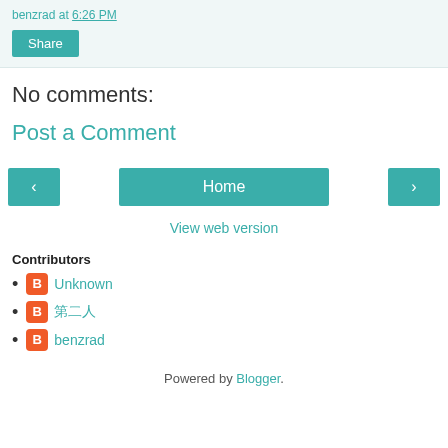benzrad      at 6:26 PM
Share
No comments:
Post a Comment
< Home >
View web version
Contributors
Unknown
第二人
benzrad
Powered by Blogger.